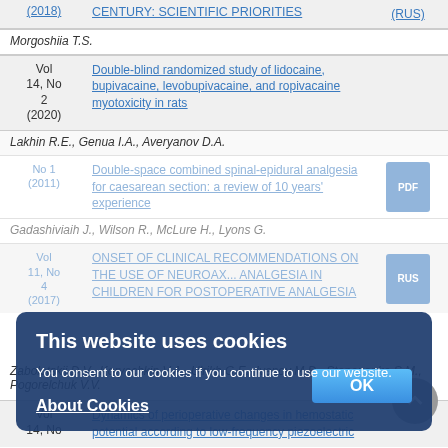| Vol/No/Year | Title | PDF |
| --- | --- | --- |
| (2018) | CENTURY: SCIENTIFIC PRIORITIES | (RUS) |
|  | Morgoshiia T.S. |  |
| Vol 14, No 2 (2020) | Double-blind randomized study of lidocaine, bupivacaine, levobupivacaine, and ropivacaine myotoxicity in rats |  |
|  | Lakhin R.E., Genua I.A., Averyanov D.A. |  |
| Vol 5, No 1 (2011) | Double-space combined spinal-epidural analgesia for caesarean section: a review of 10 years' experience | (PDF) |
|  | Gadashiviaih J., Wilson R., McLure H., Lyons G. |  |
| Vol 11, No 4 (2017) | ONSET OF CLINICAL RECOMMENDATIONS ON THE USE OF NEUROAX... ANALGESIA IN CHILDREN FOR POSTOPERATIVE ANALGESIA | (RUS) |
|  | Zabolotskii D.V., Koryachkin V.A., Ulrikh G.E., Ivanov M.D., Stepanenko S.M., Pogorelchuk V.V. |  |
| Vol 14, No | Dynamics of perioperative changes in hemostatic potential according to low-frequency piezoelectric |  |
This website uses cookies
You consent to our cookies if you continue to use our website.
About Cookies [OK button]